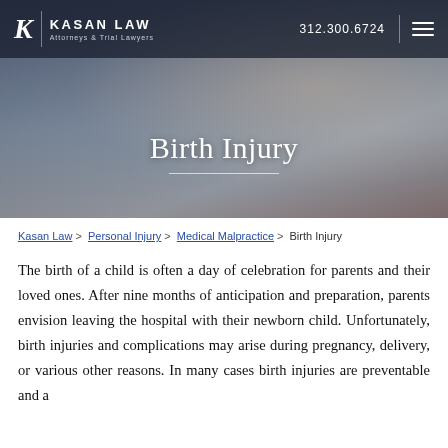[Figure (photo): Hero banner with blurred background photo of an adult hand holding a baby's hand, overlaid with dark semi-transparent navigation bar and the title 'Birth Injury']
KASAN LAW | Attorneys & Trial Lawyers | 312.300.6724
Birth Injury
Kasan Law > Personal Injury > Medical Malpractice > Birth Injury
The birth of a child is often a day of celebration for parents and their loved ones. After nine months of anticipation and preparation, parents envision leaving the hospital with their newborn child. Unfortunately, birth injuries and complications may arise during pregnancy, delivery, or various other reasons. In many cases birth injuries are preventable and a...